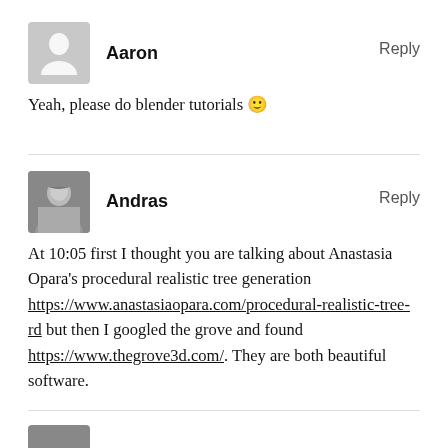Aaron
Reply
Yeah, please do blender tutorials 🙂
Andras
Reply
At 10:05 first I thought you are talking about Anastasia Opara's procedural realistic tree generation https://www.anastasiaopara.com/procedural-realistic-tree-rd but then I googled the grove and found https://www.thegrove3d.com/. They are both beautiful software.